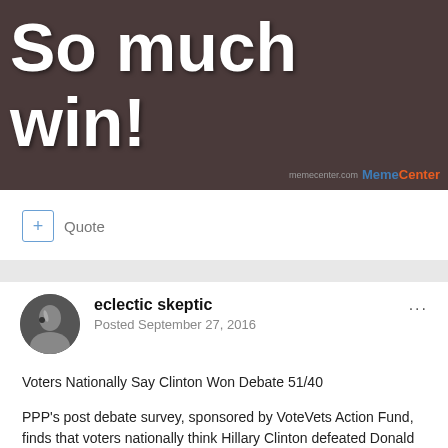[Figure (photo): Meme image with dark background and bold white text reading 'So much win!' with MemeCenter watermark in bottom right]
Quote
eclectic skeptic
Posted September 27, 2016
Voters Nationally Say Clinton Won Debate 51/40

PPP's post debate survey, sponsored by VoteVets Action Fund, finds that voters nationally think Hillary Clinton defeated Donald Trump in the debate, 51/40.
Perhaps most important for Clinton is that among young voters,